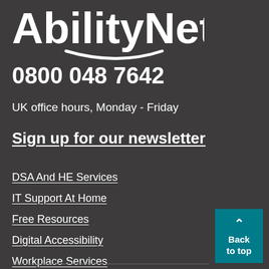[Figure (logo): AbilityNet logo with smile arc underneath the text]
0800 048 7642
UK office hours, Monday - Friday
Sign up for our newsletter
DSA And HE Services
IT Support At Home
Free Resources
Digital Accessibility
Workplace Services
My Computer My Way